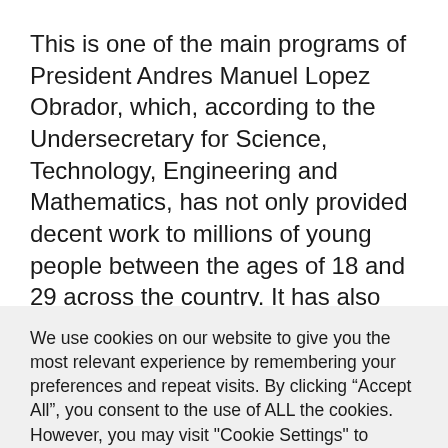This is one of the main programs of President Andres Manuel Lopez Obrador, which, according to the Undersecretary for Science, Technology, Engineering and Mathematics, has not only provided decent work to millions of young people between the ages of 18 and 29 across the country. It has also been instrumental in helping reduce the rates of violence the country is facing, and
We use cookies on our website to give you the most relevant experience by remembering your preferences and repeat visits. By clicking “Accept All”, you consent to the use of ALL the cookies. However, you may visit "Cookie Settings" to provide a controlled consent.
Cookie Settings | Accept All